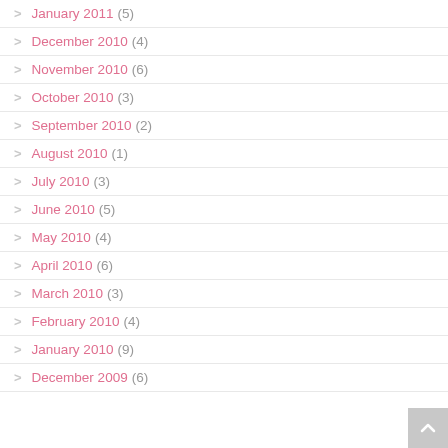> January 2011 (5)
> December 2010 (4)
> November 2010 (6)
> October 2010 (3)
> September 2010 (2)
> August 2010 (1)
> July 2010 (3)
> June 2010 (5)
> May 2010 (4)
> April 2010 (6)
> March 2010 (3)
> February 2010 (4)
> January 2010 (9)
> December 2009 (6)